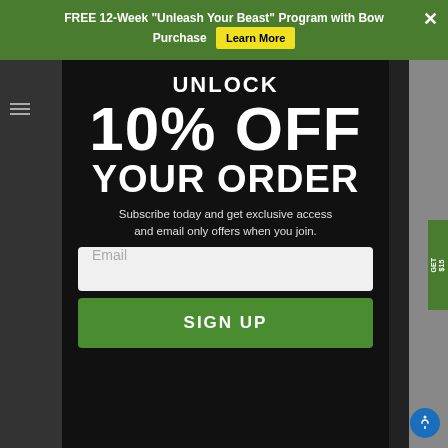FREE 12-Week "Unleash Your Beast" Program with Bow Purchase  Learn More
UNLOCK
10% OFF
YOUR ORDER
Subscribe today and get exclusive access and email only offers when you join.
Email
SIGN UP